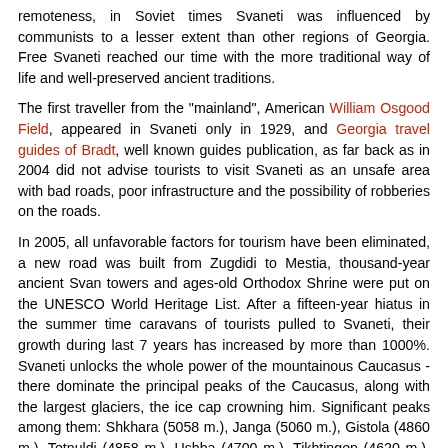remoteness, in Soviet times Svaneti was influenced by communists to a lesser extent than other regions of Georgia. Free Svaneti reached our time with the more traditional way of life and well-preserved ancient traditions.
The first traveller from the "mainland", American William Osgood Field, appeared in Svaneti only in 1929, and Georgia travel guides of Bradt, well known guides publication, as far back as in 2004 did not advise tourists to visit Svaneti as an unsafe area with bad roads, poor infrastructure and the possibility of robberies on the roads.
In 2005, all unfavorable factors for tourism have been eliminated, a new road was built from Zugdidi to Mestia, thousand-year ancient Svan towers and ages-old Orthodox Shrine were put on the UNESCO World Heritage List. After a fifteen-year hiatus in the summer time caravans of tourists pulled to Svaneti, their growth during last 7 years has increased by more than 1000%. Svaneti unlocks the whole power of the mountainous Caucasus - there dominate the principal peaks of the Caucasus, along with the largest glaciers, the ice cap crowning him. Significant peaks among them: Shkhara (5058 m.), Janga (5060 m.), Gistola (4860 m.), Tetnuldi (4858 m.), Ushba (4700 m.), Tikhtingen (4620 m.), Tsurungala (4220 m.) Ailama (4550 m.).